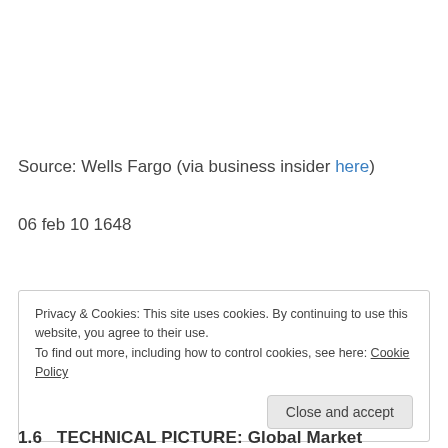Source: Wells Fargo (via business insider here)
06 feb 10 1648
Privacy & Cookies: This site uses cookies. By continuing to use this website, you agree to their use.
To find out more, including how to control cookies, see here: Cookie Policy
1.6  TECHNICAL PICTURE: Global Market